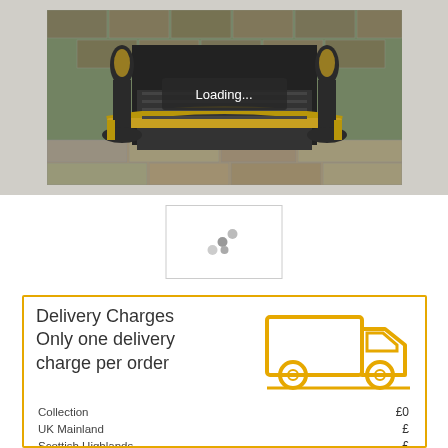[Figure (photo): Antique fireplace grate with brass fender and decorative andirons on a stone hearth, with a 'Loading...' overlay button]
[Figure (photo): Thumbnail loading spinner with grey dots on white background]
Delivery Charges
Only one delivery charge per order
|  |  |
| --- | --- |
| Collection | £0 |
| UK Mainland | £ |
| Scottish Highlands | £ |
| Northern Ireland | £ |
| Scottish and Channel Islands and Isle of Man | £ |
| Republic of Ireland | £ |